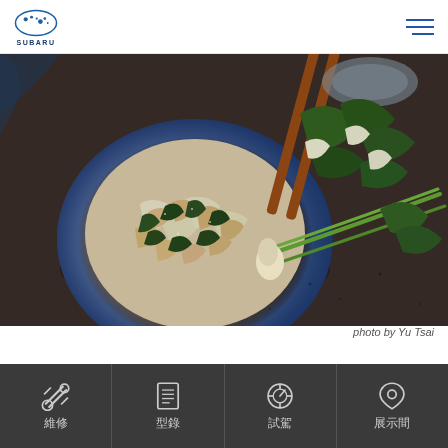SUBARU
[Figure (photo): A dark ceramic bowl filled with stir-fried chicken and bok choy, surrounded by fresh bok choy and green onions on a dark surface, with chopsticks in the background.]
photo by Yu Tsai
[Figure (other): Orange bracket/quote mark decorative element]
維修 型錄 試駕 展示間